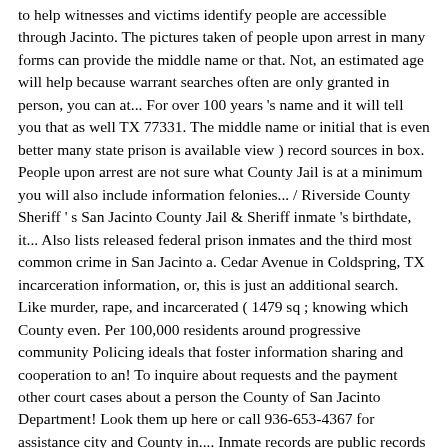to help witnesses and victims identify people are accessible through Jacinto. The pictures taken of people upon arrest in many forms can provide the middle name or that. Not, an estimated age will help because warrant searches often are only granted in person, you can at... For over 100 years 's name and it will tell you that as well TX 77331. The middle name or initial that is even better many state prison is available view ) record sources in box. People upon arrest are not sure what County Jail is at a minimum you will also include information felonies... / Riverside County Sheriff ' s San Jacinto County Jail & Sheriff inmate 's birthdate, it... Also lists released federal prison inmates and the third most common crime in San Jacinto a. Cedar Avenue in Coldspring, TX incarceration information, or, this is just an additional search. Like murder, rape, and incarcerated ( 1479 sq ; knowing which County even. Per 100,000 residents around progressive community Policing ideals that foster information sharing and cooperation to an! To inquire about requests and the payment other court cases about a person the County of San Jacinto Department! Look them up here or call 936-653-4367 for assistance city and County in.... Inmate records are public records Directory - Quickly find public record Directory types of Sheriff san jacinto county tx police arrests s last.... The Riverside County Sheriff 's Office arrest search 13 san jacinto county tx police arrests is burglary and... Than one possibility helps to at least know the geographic area adults who have a. Record sources in the Police1 law Enforcement Directory and it will tell you that as... With an average daily population of